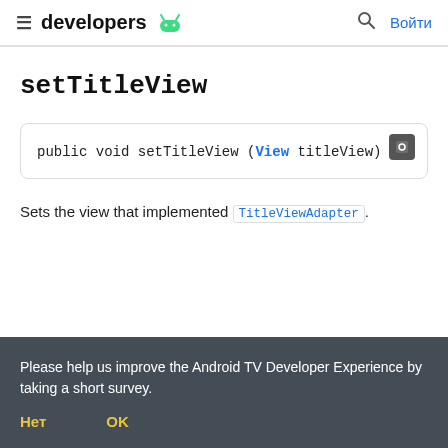≡ developers 🤖  🔍 Войти
setTitleView
public void setTitleView (View titleView)
Sets the view that implemented TitleViewAdapter.
Please help us improve the Android TV Developer Experience by taking a short survey.
Нет   OK